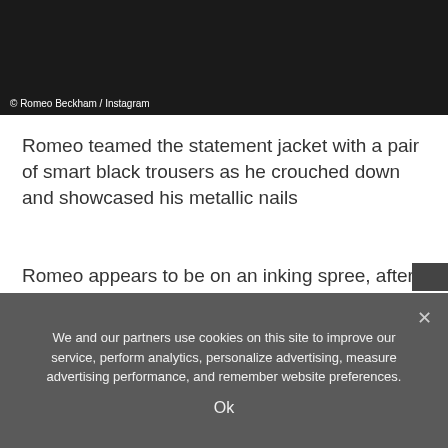[Figure (photo): Black and white photo, partially visible at top of page. Caption reads '© Romeo Beckham / Instagram']
© Romeo Beckham / Instagram
Romeo teamed the statement jacket with a pair of smart black trousers as he crouched down and showcased his metallic nails
Romeo appears to be on an inking spree, after he also debuted two other new tattoos recently.
He took to Instagram to show off two tattoos, with one reading: 'freedom to dream' and was printed on the lower side of his torso while the 'free spirit' one was on his wrist.
We and our partners use cookies on this site to improve our service, perform analytics, personalize advertising, measure advertising performance, and remember website preferences.
Ok